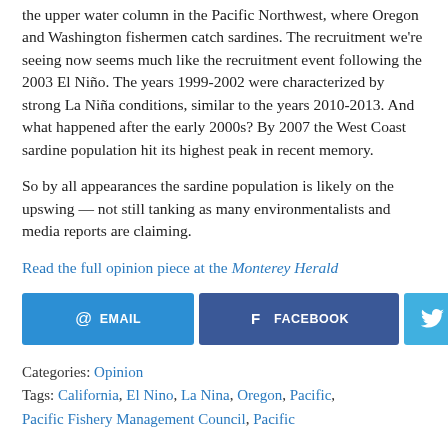the upper water column in the Pacific Northwest, where Oregon and Washington fishermen catch sardines. The recruitment we're seeing now seems much like the recruitment event following the 2003 El Niño. The years 1999-2002 were characterized by strong La Niña conditions, similar to the years 2010-2013. And what happened after the early 2000s? By 2007 the West Coast sardine population hit its highest peak in recent memory.
So by all appearances the sardine population is likely on the upswing — not still tanking as many environmentalists and media reports are claiming.
Read the full opinion piece at the Monterey Herald
[Figure (infographic): Social sharing buttons: EMAIL (blue), FACEBOOK (dark blue), Twitter bird (light blue), Pinterest (red), LinkedIn (blue), Google+ (orange-red)]
Categories: Opinion
Tags: California, El Nino, La Nina, Oregon, Pacific, Pacific Fishery Management Council, Pacific...